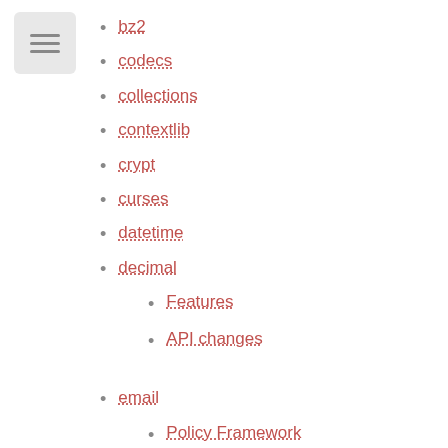bz2
codecs
collections
contextlib
crypt
curses
datetime
decimal
Features
API changes
email
Policy Framework
Provisional Policy with New Header API
Other API Changes